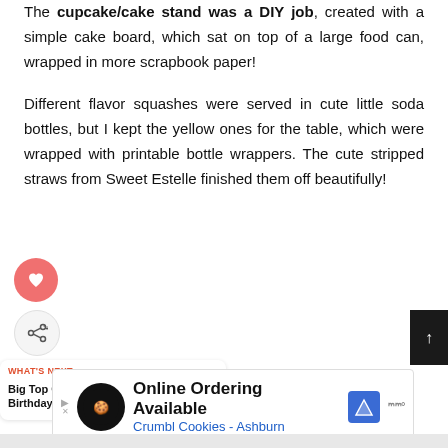The cupcake/cake stand was a DIY job, created with a simple cake board, which sat on top of a large food can, wrapped in more scrapbook paper!
Different flavor squashes were served in cute little soda bottles, but I kept the yellow ones for the table, which were wrapped with printable bottle wrappers. The cute stripped straws from Sweet Estelle finished them off beautifully!
[Figure (infographic): Pink circular like/heart button and gray circular share button on left side; dark scroll-to-top arrow button on right]
[Figure (infographic): What's Next panel: Big Top Circus Birthday Par... with thumbnail image]
[Figure (infographic): Advertisement banner: Online Ordering Available, Crumbl Cookies - Ashburn]